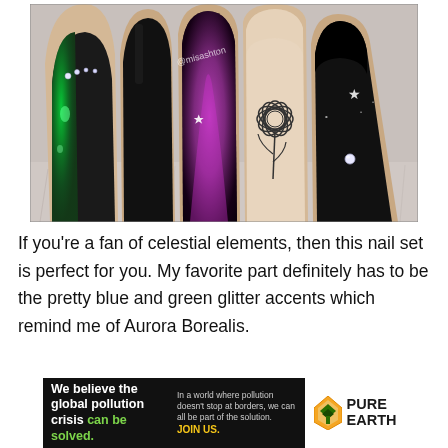[Figure (photo): Close-up photo of decorated acrylic nails featuring celestial nail art: green glitter nail with rhinestones, black nail, purple/magenta cat-eye nail with stars, natural-toned nail with sunflower design, and black nail with stars and rhinestone. Watermark @misashton visible. Nails rest on white fur background.]
If you’re a fan of celestial elements, then this nail set is perfect for you. My favorite part definitely has to be the pretty blue and green glitter accents which remind me of Aurora Borealis.
[Figure (infographic): Advertisement banner for Pure Earth. Left black section reads: 'We believe the global pollution crisis can be solved.' with 'can be solved.' in green. Right text says 'In a world where pollution doesn’t stop at borders, we can all be part of the solution. JOIN US.' Right white section shows Pure Earth logo with diamond/arrow icon and text 'PURE EARTH'.]